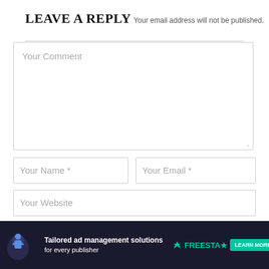LEAVE A REPLY
Your email address will not be published.
Your Comment
Your Name *
Your Email *
Your Website
Save my name, email, and website in this browser for the next
[Figure (screenshot): Advertisement banner for Tailored ad management solutions for every publisher by Freestar. Dark background with teal accents and Learn More button.]